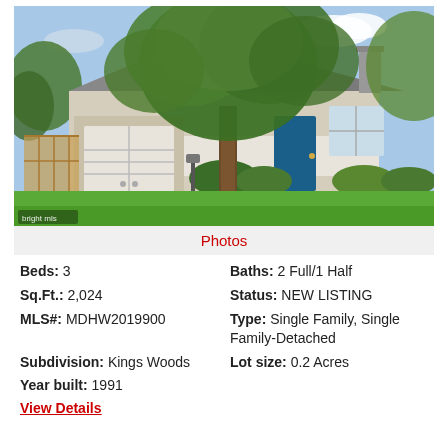[Figure (photo): Exterior photo of a two-story single family home with gray siding, blue front door, attached garage, large tree in front yard, and green lawn. 'bright mls' watermark in lower left.]
Photos
Beds: 3
Baths: 2 Full/1 Half
Sq.Ft.: 2,024
Status: NEW LISTING
MLS#: MDHW2019900
Type: Single Family, Single Family-Detached
Subdivision: Kings Woods
Lot size: 0.2 Acres
Year built: 1991
View Details